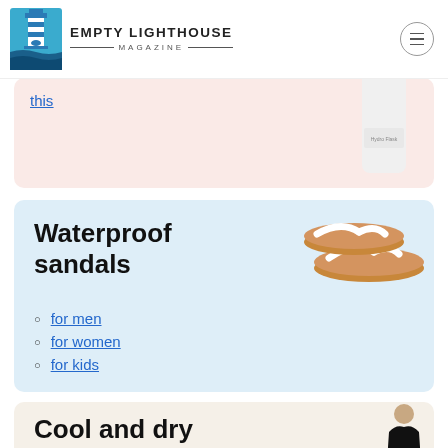EMPTY LIGHTHOUSE MAGAZINE
this
[Figure (photo): Hydro Flask white water bottle on pink background card]
Waterproof sandals
[Figure (photo): Tan and white flip flop sandals on light blue background]
for men
for women
for kids
Cool and dry
[Figure (photo): Person in black top on tan background card (partially visible)]